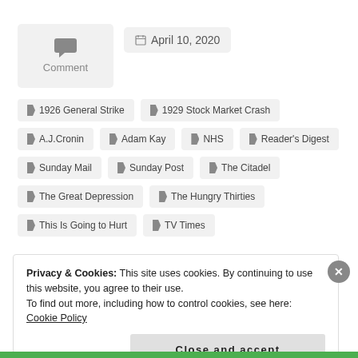[Figure (other): Comment icon box with speech bubble icon and 'Comment' label]
April 10, 2020
1926 General Strike
1929 Stock Market Crash
A.J.Cronin
Adam Kay
NHS
Reader's Digest
Sunday Mail
Sunday Post
The Citadel
The Great Depression
The Hungry Thirties
This Is Going to Hurt
TV Times
Privacy & Cookies: This site uses cookies. By continuing to use this website, you agree to their use.
To find out more, including how to control cookies, see here: Cookie Policy
Close and accept